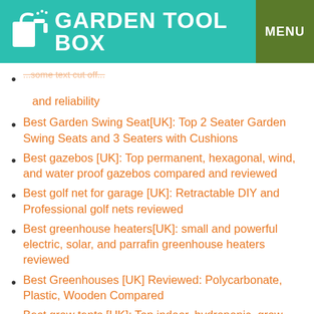GARDEN TOOL BOX | MENU
and reliability
Best Garden Swing Seat[UK]: Top 2 Seater Garden Swing Seats and 3 Seaters with Cushions
Best gazebos [UK]: Top permanent, hexagonal, wind, and water proof gazebos compared and reviewed
Best golf net for garage [UK]: Retractable DIY and Professional golf nets reviewed
Best greenhouse heaters[UK]: small and powerful electric, solar, and parrafin greenhouse heaters reviewed
Best Greenhouses [UK] Reviewed: Polycarbonate, Plastic, Wooden Compared
Best grow tents [UK]: Top indoor, hydroponic, grow tent kits reviewed and compared
Best gutter guards [UK] that really stop leaves and